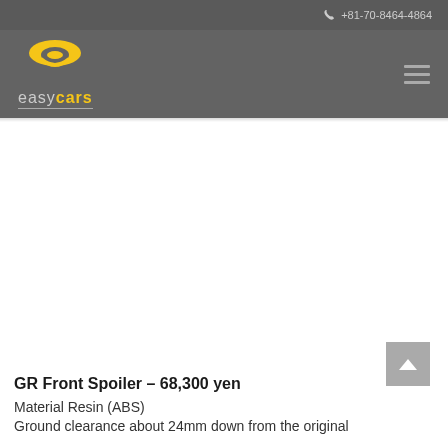+81-70-8464-4864
[Figure (logo): easycars logo with stylized 'e' car icon in yellow, text reading 'easy' in grey and 'cars' in yellow with underline]
GR Front Spoiler – 68,300 yen
Material Resin (ABS)
Ground clearance about 24mm down from the original